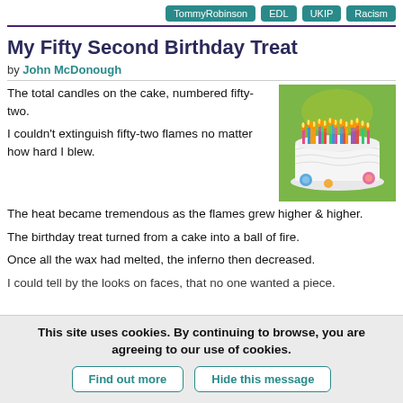TommyRobinson  EDL  UKIP  Racism
My Fifty Second Birthday Treat
by John McDonough
The total candles on the cake, numbered fifty-two.
[Figure (photo): A white birthday cake with many lit colourful candles blazing with flames on a plate, against a green background, decorated with sugar flowers.]
I couldn't extinguish fifty-two flames no matter how hard I blew.
The heat became tremendous as the flames grew higher & higher.
The birthday treat turned from a cake into a ball of fire.
Once all the wax had melted, the inferno then decreased.
I could tell by the looks on faces, that no one wanted a piece.
This site uses cookies. By continuing to browse, you are agreeing to our use of cookies.
Find out more  Hide this message